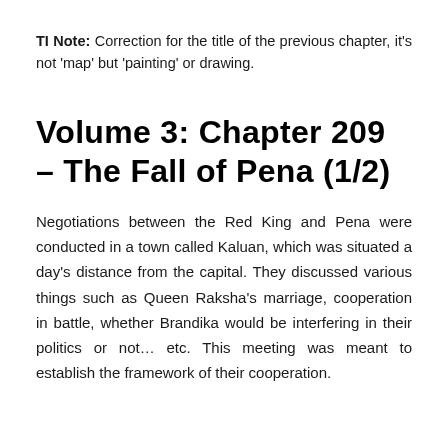TI Note: Correction for the title of the previous chapter, it's not 'map' but 'painting' or drawing.
Volume 3: Chapter 209 – The Fall of Pena (1/2)
Negotiations between the Red King and Pena were conducted in a town called Kaluan, which was situated a day's distance from the capital. They discussed various things such as Queen Raksha's marriage, cooperation in battle, whether Brandika would be interfering in their politics or not... etc. This meeting was meant to establish the framework of their cooperation.